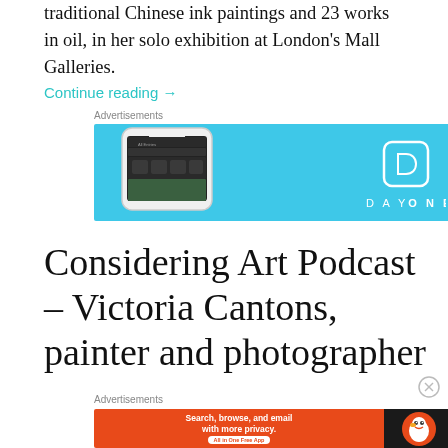traditional Chinese ink paintings and 23 works in oil, in her solo exhibition at London's Mall Galleries.
Continue reading →
Advertisements
[Figure (screenshot): DayOne app advertisement banner with blue background showing phone screenshot and DayOne logo]
Considering Art Podcast – Victoria Cantons, painter and photographer
Advertisements
[Figure (screenshot): DuckDuckGo advertisement: Search, browse, and email with more privacy. All in One Free App]